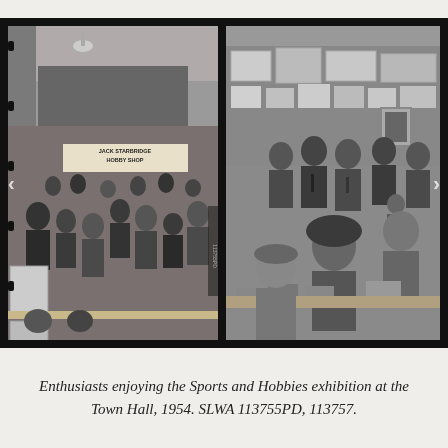[Figure (photo): Two black-and-white photographs side by side on a dark film strip background. Left photo shows a wide view of a crowded indoor exhibition hall with a banner reading 'Jack Starbridge Hobby Shop' and many people browsing displays. Right photo shows a closer view of men and children examining items on tables at the same exhibition, with display boards and posters in the background.]
Enthusiasts enjoying the Sports and Hobbies exhibition at the Town Hall, 1954. SLWA 113755PD, 113757.